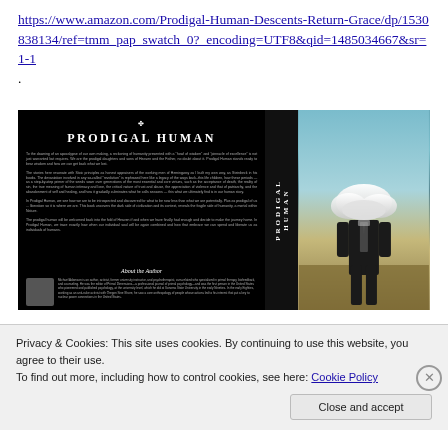https://www.amazon.com/Prodigal-Human-Descents-Return-Grace/dp/1530838134/ref=tmm_pap_swatch_0?_encoding=UTF8&qid=1485034667&sr=1-1
.
[Figure (photo): Book cover of 'Prodigal Human' showing a black background with white serif title text on the left panel and spine, and on the right a surrealist photo of a suited man whose head is replaced by a cloud, standing in a field.]
Privacy & Cookies: This site uses cookies. By continuing to use this website, you agree to their use.
To find out more, including how to control cookies, see here: Cookie Policy
Close and accept